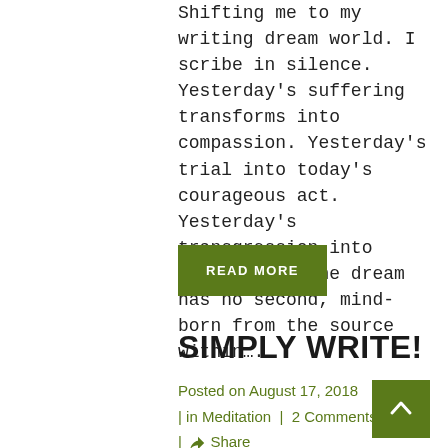Shifting me to my writing dream world. I scribe in silence. Yesterday's suffering transforms into compassion. Yesterday's trial into today's courageous act. Yesterday's transgression into redemption. The dream has no second, mind-born from the source within….
READ MORE
SIMPLY WRITE!
Posted on August 17, 2018 | in Meditation | 2 Comments | Share